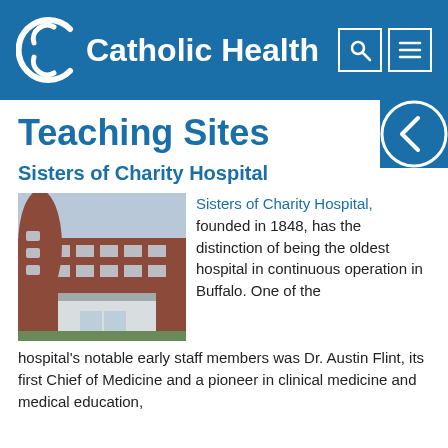Catholic Health
Teaching Sites
Sisters of Charity Hospital
[Figure (photo): Exterior photo of Sisters of Charity Hospital building, showing red brick facade with a modern glass canopy entrance and a round architectural tower feature.]
Sisters of Charity Hospital, founded in 1848, has the distinction of being the oldest hospital in continuous operation in Buffalo. One of the hospital's notable early staff members was Dr. Austin Flint, its first Chief of Medicine and a pioneer in clinical medicine and medical education, who recognized patients with characteristic...